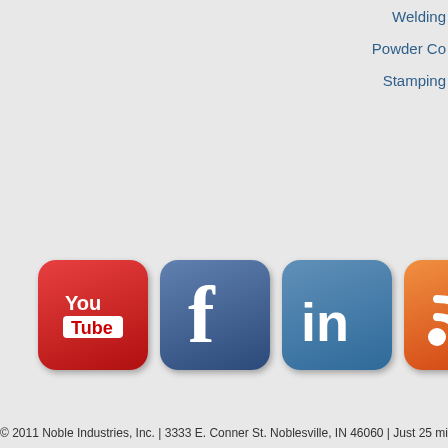Welding
Powder Co
Stamping
[Figure (logo): Social media icons: YouTube, Facebook, LinkedIn, RSS feed]
© 2011 Noble Industries, Inc. | 3333 E. Conner St. Noblesville, IN 46060 | Just 25 miles